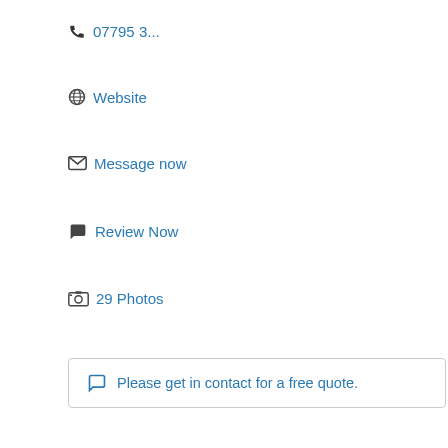07795 3...
Website
Message now
Review Now
29 Photos
Please get in contact for a free quote.
Welcome to Ojm Plumbing & Heating we are based in Huddersfield and cover surrounding areas ensuring the quality of our work is...
Huddersfield Heating & Electrical
Is this your business? Claim now!